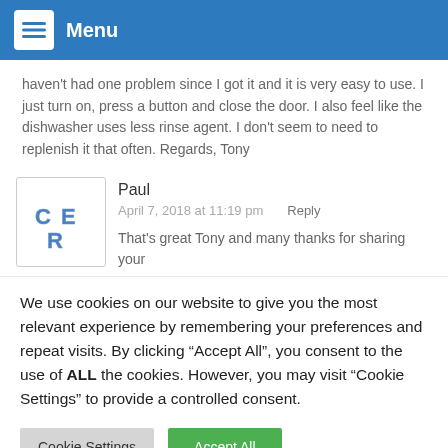Menu
haven't had one problem since I got it and it is very easy to use. I just turn on, press a button and close the door. I also feel like the dishwasher uses less rinse agent. I don't seem to need to replenish it that often. Regards, Tony
Paul
April 7, 2018 at 11:19 pm   Reply
That's great Tony and many thanks for sharing your
We use cookies on our website to give you the most relevant experience by remembering your preferences and repeat visits. By clicking "Accept All", you consent to the use of ALL the cookies. However, you may visit "Cookie Settings" to provide a controlled consent.